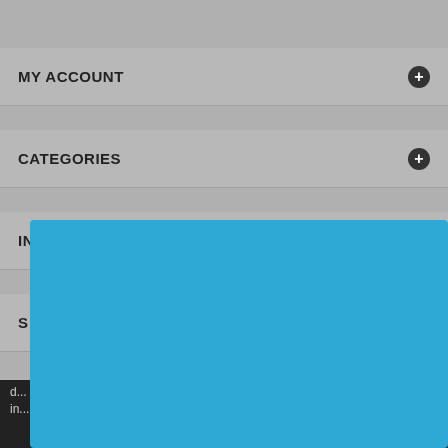MY ACCOUNT
CATEGORIES
INFORMATION
[Figure (screenshot): Newsletter subscription modal popup with blue border. Contains title 'Subscribe to our newsletter', descriptive text, email input field, and Subscribe button.]
Subscribe to our newsletter
Enter your email address to receive all news, updates on new arrivals, special offers and other discount information.
Enter your e-mail
Subscribe